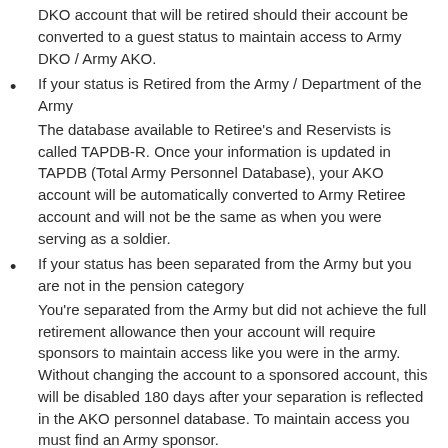DKO account that will be retired should their account be converted to a guest status to maintain access to Army DKO / Army AKO.
If your status is Retired from the Army / Department of the Army
The database available to Retiree’s and Reservists is called TAPDB-R. Once your information is updated in TAPDB (Total Army Personnel Database), your AKO account will be automatically converted to Army Retiree account and will not be the same as when you were serving as a soldier.
If your status has been separated from the Army but you are not in the pension category
You’re separated from the Army but did not achieve the full retirement allowance then your account will require sponsors to maintain access like you were in the army. Without changing the account to a sponsored account, this will be disabled 180 days after your separation is reflected in the AKO personnel database. To maintain access you must find an Army sponsor.
If your status is a time before you retire